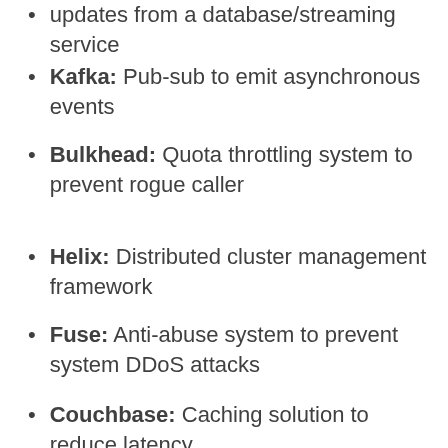updates from a database/streaming service
Kafka: Pub-sub to emit asynchronous events
Bulkhead: Quota throttling system to prevent rogue caller
Helix: Distributed cluster management framework
Fuse: Anti-abuse system to prevent system DDoS attacks
Couchbase: Caching solution to reduce latency
Ambry: Blob-storage to store/retrieve images/blobs
Pinot: Real-time distributed OLAP datastores